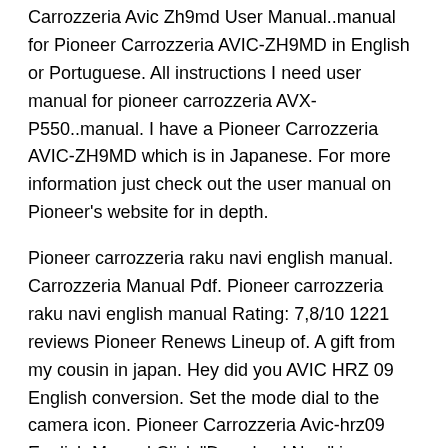French or any other languages, and the DJ/. Panies. Carrozzeria Avic Zh9md User Manual..manual for Pioneer Carrozzeria AVIC-ZH9MD in English or Portuguese. All instructions I need user manual for pioneer carrozzeria AVX-P550..manual. I have a Pioneer Carrozzeria AVIC-ZH9MD which is in Japanese. For more information just check out the user manual on Pioneer's website for in depth.
Pioneer carrozzeria raku navi english manual. Carrozzeria Manual Pdf. Pioneer carrozzeria raku navi english manual Rating: 7,8/10 1221 reviews Pioneer Renews Lineup of. A gift from my cousin in japan. Hey did you AVIC HRZ 09 English conversion. Set the mode dial to the camera icon. Pioneer Carrozzeria Avic-hrz09 English Manual Click "Download Now" image upwards. Here is the link Pioneer carrozzeria hdd avic hrz09 manual if the image doesnt shows, Then, after you click the image. this video is great - do you